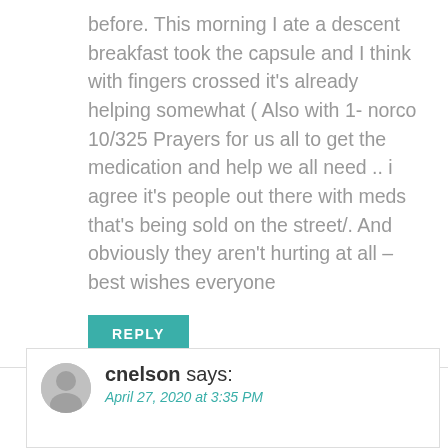before. This morning I ate a descent breakfast took the capsule and I think with fingers crossed it's already helping somewhat ( Also with 1- norco 10/325 Prayers for us all to get the medication and help we all need .. i agree it's people out there with meds that's being sold on the street/. And obviously they aren't hurting at all – best wishes everyone
REPLY
cnelson says:
April 27, 2020 at 3:35 PM